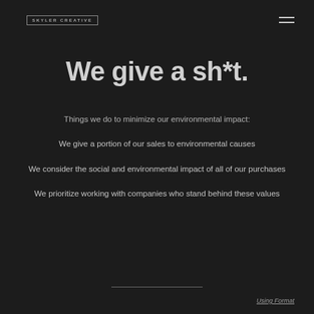SKYLER CREATIVE
We give a sh*t.
Things we do to minimize our environmental impact:
We give a portion of our sales to environmental causes
We consider the social and environmental impact of all of our purchases
We prioritize working with companies who stand behind these values
Using Format